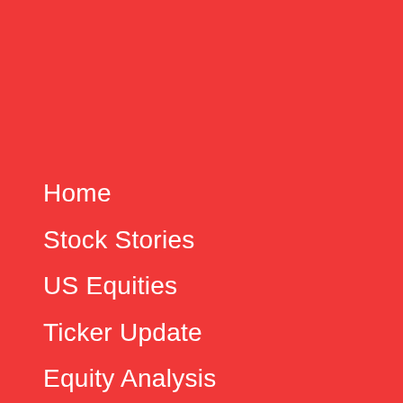Home
Stock Stories
US Equities
Ticker Update
Equity Analysis